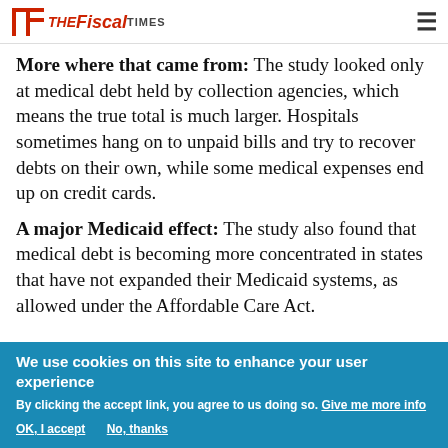The Fiscal Times
More where that came from: The study looked only at medical debt held by collection agencies, which means the true total is much larger. Hospitals sometimes hang on to unpaid bills and try to recover debts on their own, while some medical expenses end up on credit cards.
A major Medicaid effect: The study also found that medical debt is becoming more concentrated in states that have not expanded their Medicaid systems, as allowed under the Affordable Care Act.
We use cookies on this site to enhance your user experience
By clicking the accept link, you agree to us doing so. Give me more info
OK, I accept   No, thanks